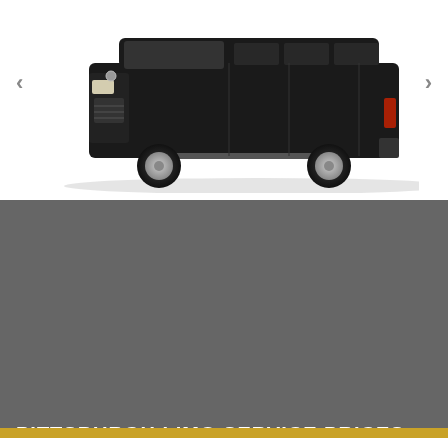[Figure (photo): Black Mercedes-Benz Sprinter van/limousine on white background, viewed from front-left angle]
PITTSBURGH LIMO SERVICE PRICES
Book Now
Contact Us: (800) 942-6281